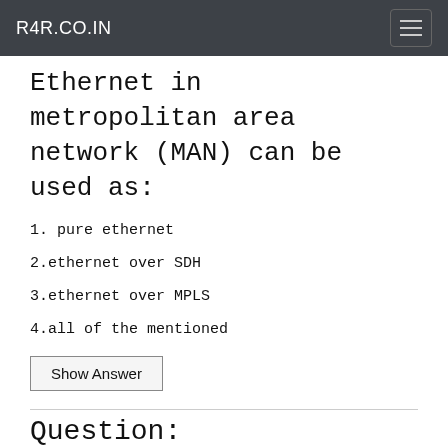R4R.CO.IN
Ethernet in metropolitan area network (MAN) can be used as:
1. pure ethernet
2.ethernet over SDH
3.ethernet over MPLS
4.all of the mentioned
Show Answer
Question: